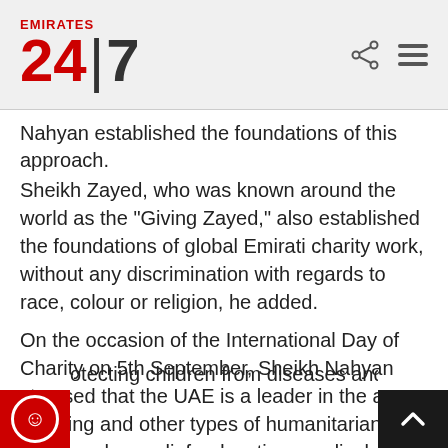Emirates 24|7
Nahyan established the foundations of this approach.
Sheikh Zayed, who was known around the world as the "Giving Zayed," also established the foundations of global Emirati charity work, without any discrimination with regards to race, colour or religion, he added.
On the occasion of the International Day of Charity on 5th September, Sheikh Nahyan stressed that the UAE is a leader in the area of giving and other types of humanitarian work, such as relief, education, medical aid, community, housing, infrastructure, protecting children from diseases and epidemics, a... sisting people affected by wars and conflicts...